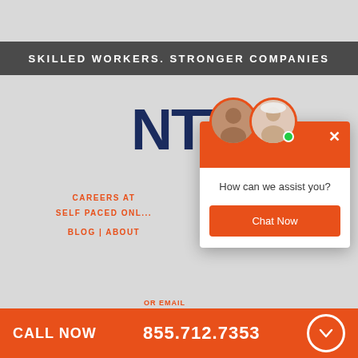SKILLED WORKERS. STRONGER COMPANIES
[Figure (logo): NTT logo in dark navy blue with stylized letters]
[Figure (screenshot): Chat popup with two agent avatars, orange header, white body with 'How can we assist you?' question and orange Chat Now button]
CAREERS AT
SELF PACED ONL...
BLOG | ABOUT
CALL NOW   855.712.7353
Our Mission: